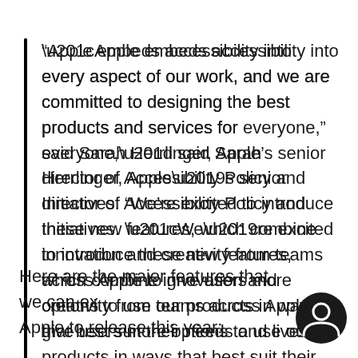“Apple embeds accessibility into every aspect of our work, and we are committed to designing the best products and services for everyone,” said Sarah Herrlinger, Apple’s senior director of Accessibility Policy and Initiatives. “We’re excited to introduce these new features, which combine innovation and creativity from teams across Apple to give users more options to use our products in ways that best suit their needs and lives.”
Here are the major features that we can ex[pect] Apple to release this year: